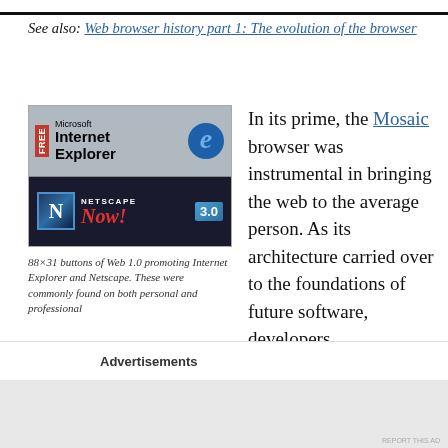See also: Web browser history part 1: The evolution of the browser
[Figure (illustration): 88x31 buttons showing Microsoft Internet Explorer (top, gray background with red FREE badge and blue e logo) and Netscape Now! 3.0 (bottom, dark background with N logo)]
88×31 buttons of Web 1.0 promoting Internet Explorer and Netscape. These were commonly found on both personal and professional
In its prime, the Mosaic browser was instrumental in bringing the web to the average person. As its architecture carried over to the foundations of future software, developers
Advertisements